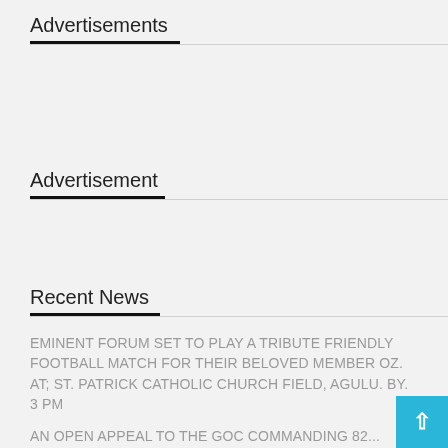Advertisements
Advertisement
Recent News
EMINENT FORUM SET TO PLAY A TRIBUTE FRIENDLY FOOTBALL MATCH FOR THEIR BELOVED MEMBER OZ. AT; St. Patrick Catholic Church Field, Agulu. By. 3 PM
AN OPEN APPEAL TO THE GOC COMMANDING 82...